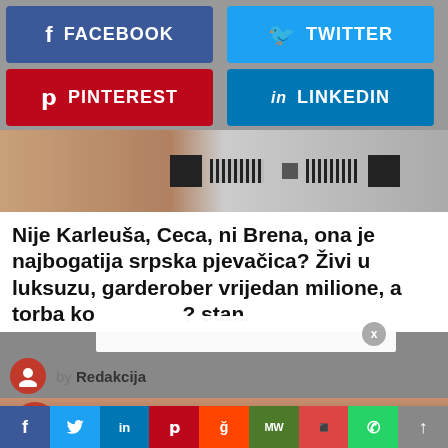[Figure (screenshot): Social media share buttons: Facebook (blue), Twitter (light blue), Pinterest (red), LinkedIn (dark blue)]
[Figure (photo): Partially visible image strip with QR codes and photo content]
Nije Karleuša, Ceca, ni Brena, ona je najbogatija srpska pjevačica? Živi u luksuzu, garderober vrijedan milione, a torba ko? stan.
[Figure (screenshot): White overlay bar with X close button]
by Redakcija
[Figure (photo): Article photo of a blonde woman, with a fire icon overlay in the top left]
[Figure (screenshot): Bottom social sharing bar with icons: Facebook, Twitter, LinkedIn, Pinterest, Reddit, MW, Mix, WhatsApp, scroll-up]